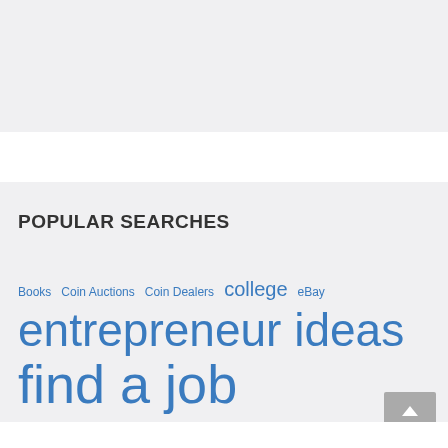POPULAR SEARCHES
Books  Coin Auctions  Coin Dealers  college  eBay  entrepreneur ideas  find a job  Free Stuff  Grading Coins  interviews  investments  job interviews  Jobs  jobs  job scams  leaving a job